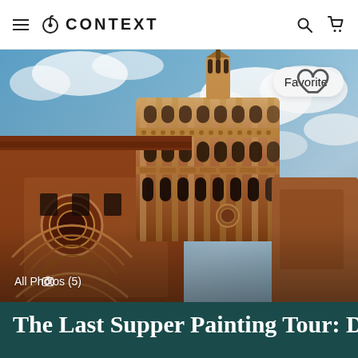≡  ⟳ CONTEXT  🔍  🛒
[Figure (photo): Exterior architectural photo of Santa Maria delle Grazie church in Milan — a large Renaissance brick building with a prominent circular drum-topped apse, arched windows, decorative terracotta ornamental bands, and a lantern tower, shot from a low angle against a dramatic blue cloudy sky with warm golden light.]
♡  Favorite
📷  All Photos (5)
The Last Supper Painting Tour: Da